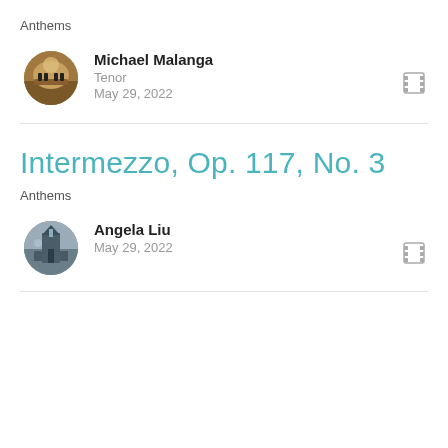Anthems
Michael Malanga
Tenor
May 29, 2022
Intermezzo, Op. 117, No. 3
Anthems
Angela Liu
May 29, 2022